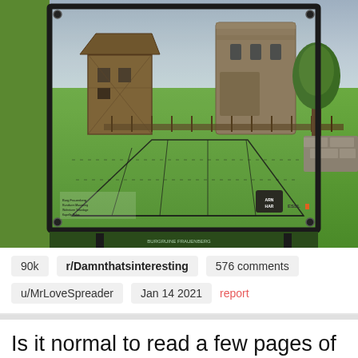[Figure (photo): A transparent info board/sign at an outdoor historical site showing a diagram overlay of a medieval fortification. Behind the board is a green field, a ruined stone tower, a timber-framed wooden tower structure, stone walls, and a tree. The sky is overcast.]
90k   r/Damnthatsinteresting   576 comments
u/MrLoveSpreader   Jan 14 2021   report
Is it normal to read a few pages of a book and then suddenly realize that you have no idea what's going on in the plot because